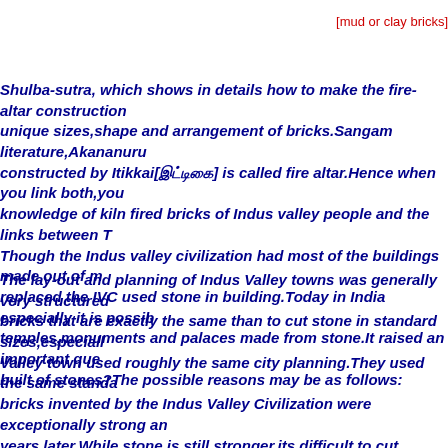[mud or clay bricks]
Shulba-sutra, which shows in details how to make the fire-altar construction unique sizes,shape and arrangement of bricks.Sangam literature,Akananuru constructed by Itikkai[இட்டிகை] is called fire altar.Hence when you link both,you knowledge of kiln fired bricks of Indus valley people and the links between T Though the Indus valley civilization had most of the buildings made out of m replaced the IVC used stone in building.Today in India especially it is possib temples,monuments and palaces made from stone.It raised an important que built of stones?The possible reasons may be as follows:
The lay-out and planning of Indus Valley towns was generally very structured bricks that are exactly the same than to cut stone in standard sizes,especiall Valley town used roughly the same city planning.They used the same standa bricks invented by the Indus Valley Civilization were exceptionally strong an years later.While stone is still stronger,its difficult to cut exactly flat on four s chisels,pickaxes,and saws,most likely made of copper.The brick walls of Ha allows for the city to be planned into neat quadrants.The IVC also rebuilt the of the old ones every few years,yet they were able to keep the straight angles using brick,because its easier to stack neatly with brick than stone without a geography,which caused constant flooding,these rebuilding efforts were con